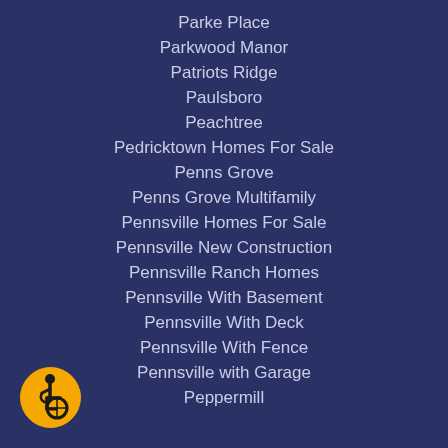Parke Place
Parkwood Manor
Patriots Ridge
Paulsboro
Peachtree
Pedricktown Homes For Sale
Penns Grove
Penns Grove Multifamily
Pennsville Homes For Sale
Pennsville New Construction
Pennsville Ranch Homes
Pennsville With Basement
Pennsville With Deck
Pennsville With Fence
Pennsville with Garage
Peppermill
[Figure (illustration): Accessibility icon: yellow circle with wheelchair user symbol in black]